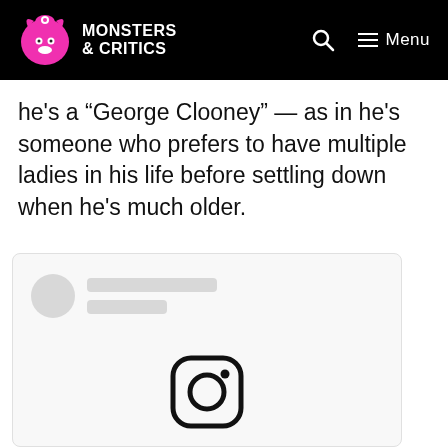Monsters & Critics
he’s a “George Clooney” — as in he’s someone who prefers to have multiple ladies in his life before settling down when he’s much older.
[Figure (screenshot): A loading placeholder card for an Instagram embed, showing a gray avatar circle and two gray loading lines, with the Instagram logo icon visible at the bottom center of the card.]